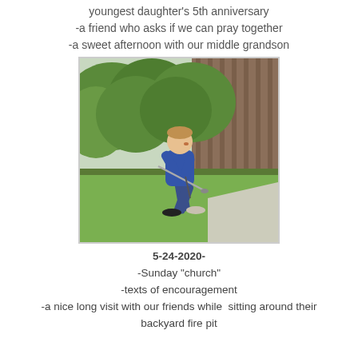youngest daughter's 5th anniversary
-a friend who asks if we can pray together
-a sweet afternoon with our middle grandson
[Figure (photo): A young boy in a blue hoodie and jeans running on a grass lawn, holding a golf club. Green leafy shrubs and a wooden fence are visible in the background.]
5-24-2020-
-Sunday "church"
-texts of encouragement
-a nice long visit with our friends while  sitting around their backyard fire pit